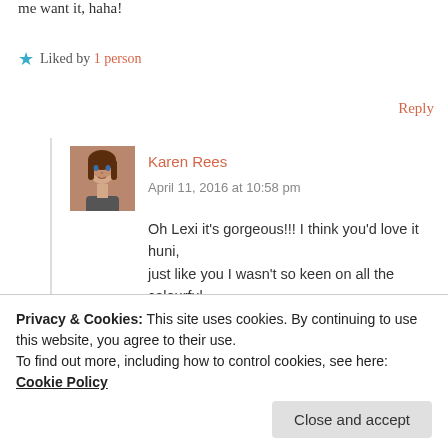me want it, haha!
★ Liked by 1 person
Reply
Karen Rees
April 11, 2016 at 10:58 pm
Oh Lexi it's gorgeous!!! I think you'd love it huni, just like you I wasn't so keen on all the colourful shades either (I'm more of a earthy/nudes gal) but I'm so glad I got it as it's truly gorgeous! I
by! Hope you're keeping well and having a fab
Privacy & Cookies: This site uses cookies. By continuing to use this website, you agree to their use.
To find out more, including how to control cookies, see here: Cookie Policy
Close and accept